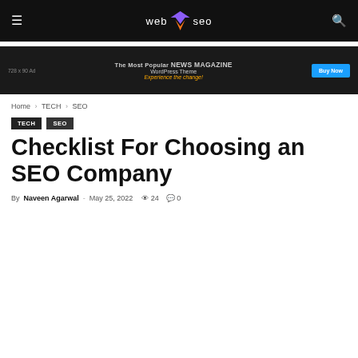web SEO [navigation bar with hamburger menu, logo, and search icon]
[Figure (screenshot): Ad banner: 728 x 90 Ad — The Most Popular NEWS MAGAZINE WordPress Theme — Experience the change! — Buy Now button]
Home › TECH › SEO
TECH  SEO
Checklist For Choosing an SEO Company
By Naveen Agarwal - May 25, 2022  24  0